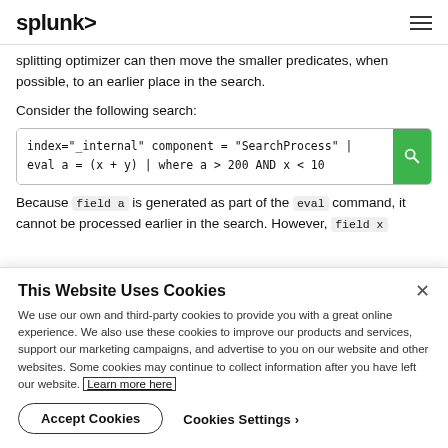splunk>
splitting optimizer can then move the smaller predicates, when possible, to an earlier place in the search.
Consider the following search:
Because field a is generated as part of the eval command, it cannot be processed earlier in the search. However, field x
This Website Uses Cookies
We use our own and third-party cookies to provide you with a great online experience. We also use these cookies to improve our products and services, support our marketing campaigns, and advertise to you on our website and other websites. Some cookies may continue to collect information after you have left our website. Learn more here
Accept Cookies
Cookies Settings ›